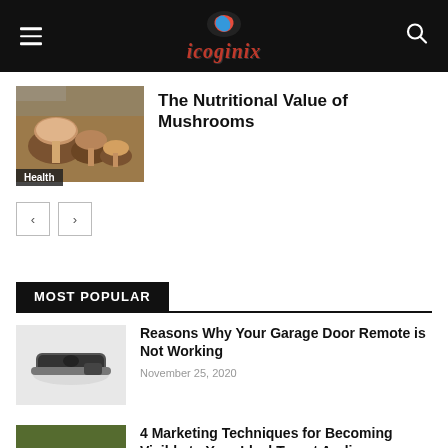icoginix
[Figure (photo): Mushrooms photo with Health category label]
The Nutritional Value of Mushrooms
< >
MOST POPULAR
[Figure (photo): Garage door remote on white background]
Reasons Why Your Garage Door Remote is Not Working
November 25, 2020
[Figure (photo): Marketing concept photo with plant and coffee cup]
4 Marketing Techniques for Becoming Visible to Your Ideal Target Audience